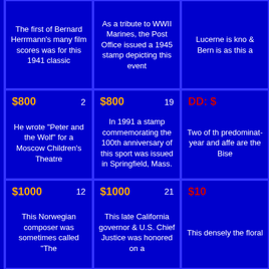| The first of Bernard Herrmann's many film scores was for this 1941 classic | As a tribute to WWII Marines, the Post Office issued a 1945 stamp depicting this event | Lucerne is kno... & Bern is as... this a... |
| $800 | 2
He wrote "Peter and the Wolf" for a Moscow Children's Theatre | $800 | 19
In 1991 a stamp commemorating the 100th anniversary of this sport was issued in Springfield, Mass. | DD: $...
Two of th... predominat... year and affe... are the Bise... |
| $1000 | 12
This Norwegian composer was sometimes called "The | $1000 | 21
This late California governor & U.S. Chief Justice was honored on a... | $10...
This densely... the floral... |